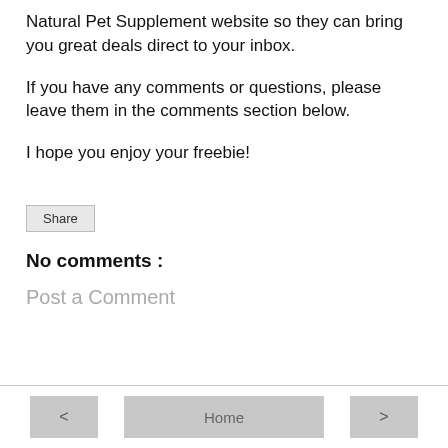Natural Pet Supplement website so they can bring you great deals direct to your inbox.
If you have any comments or questions, please leave them in the comments section below.
I hope you enjoy your freebie!
Share
No comments :
Post a Comment
< Home >